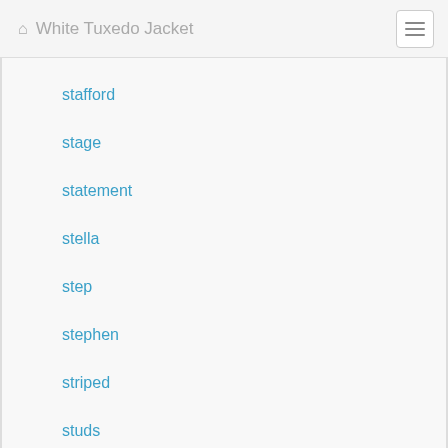White Tuxedo Jacket
stafford
stage
statement
stella
step
stephen
striped
studs
stunning